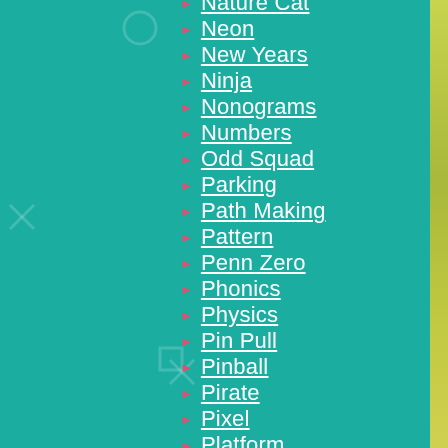Nature Cat
Neon
New Years
Ninja
Nonograms
Numbers
Odd Squad
Parking
Path Making
Pattern
Penn Zero
Phonics
Physics
Pin Pull
Pinball
Pirate
Pixel
Platform
Plumber